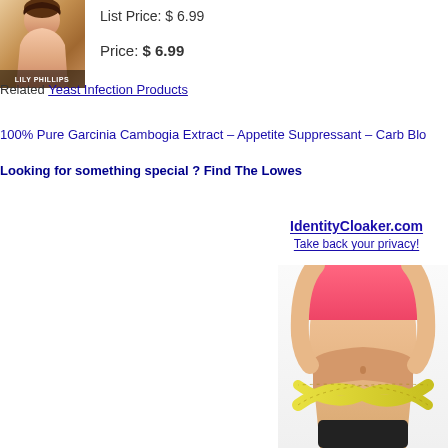[Figure (photo): Book cover showing a woman silhouette with text 'LILY PHILLIPS']
List Price: $ 6.99
Price: $ 6.99
Related Yeast Infection Products
100% Pure Garcinia Cambogia Extract – Appetite Suppressant – Carb Blo…
Looking for something special ? Find The Lowes…
IdentityCloaker.com
Take back your privacy!
[Figure (photo): Woman in pink crop top with a measuring tape crossed around her midsection]